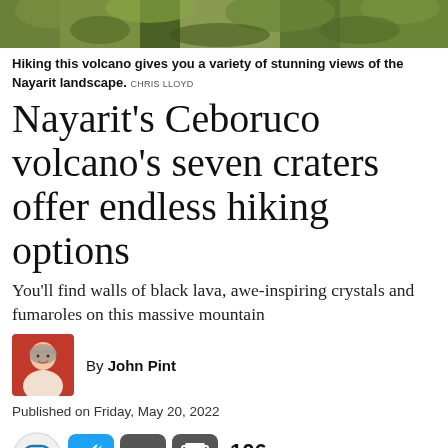[Figure (photo): Aerial or close-up view of lush green volcanic landscape vegetation]
Hiking this volcano gives you a variety of stunning views of the Nayarit landscape. CHRIS LLOYD
Nayarit's Ceboruco volcano's seven craters offer endless hiking options
You'll find walls of black lava, awe-inspiring crystals and fumaroles on this massive mountain
By John Pint
Published on Friday, May 20, 2022
[Figure (infographic): Social share buttons: comment bubble, Twitter, email, print, with 106 SHARES count]
“Let’s go camp on top of Ceboruco Volcano to see the